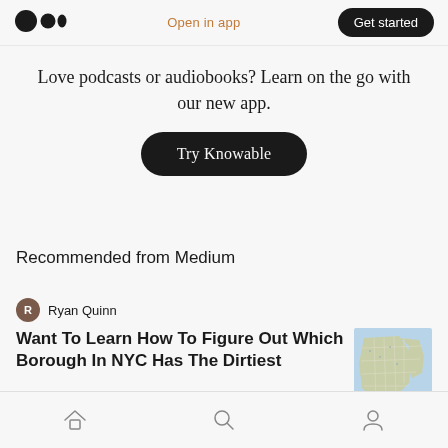Medium logo | Open in app | Get started
Love podcasts or audiobooks? Learn on the go with our new app.
Try Knowable
Recommended from Medium
Ryan Quinn
Want To Learn How To Figure Out Which Borough In NYC Has The Dirtiest
[Figure (map): Thumbnail map of New York City boroughs, aerial/satellite style with blue water and grey-green land]
Home | Search | Profile